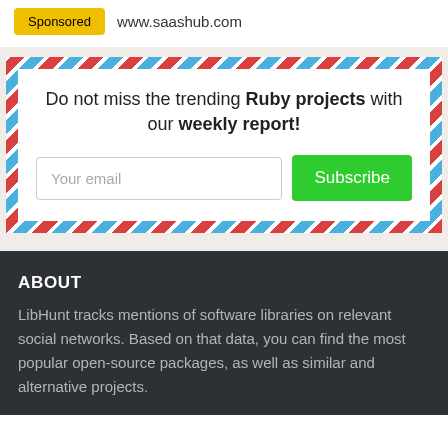www.saashub.com
Sponsored
Do not miss the trending Ruby projects with our weekly report!
Your email
Subscribe
ABOUT
LibHunt tracks mentions of software libraries on relevant social networks. Based on that data, you can find the most popular open-source packages, as well as similar and alternative projects.